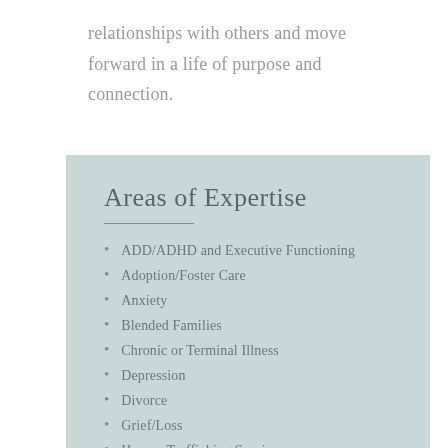relationships with others and move forward in a life of purpose and connection.
Areas of Expertise
ADD/ADHD and Executive Functioning
Adoption/Foster Care
Anxiety
Blended Families
Chronic or Terminal Illness
Depression
Divorce
Grief/Loss
Human Trafficking Survivors
Life Transitions and Adjustments
Parenting